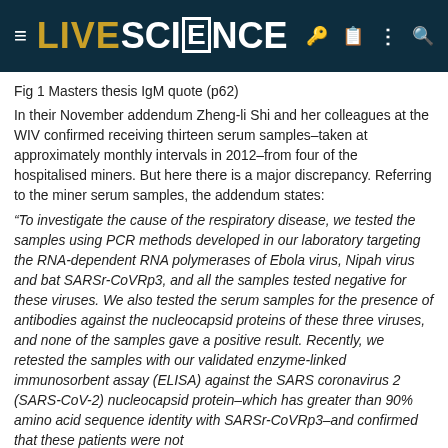LIVESCIENCE
Fig 1 Masters thesis IgM quote (p62)
In their November addendum Zheng-li Shi and her colleagues at the WIV confirmed receiving thirteen serum samples–taken at approximately monthly intervals in 2012–from four of the hospitalised miners. But here there is a major discrepancy. Referring to the miner serum samples, the addendum states:
“To investigate the cause of the respiratory disease, we tested the samples using PCR methods developed in our laboratory targeting the RNA-dependent RNA polymerases of Ebola virus, Nipah virus and bat SARSr-CoVRp3, and all the samples tested negative for these viruses. We also tested the serum samples for the presence of antibodies against the nucleocapsid proteins of these three viruses, and none of the samples gave a positive result. Recently, we retested the samples with our validated enzyme-linked immunosorbent assay (ELISA) against the SARS coronavirus 2 (SARS-CoV-2) nucleocapsid protein–which has greater than 90% amino acid sequence identity with SARSr-CoVRp3–and confirmed that these patients were not